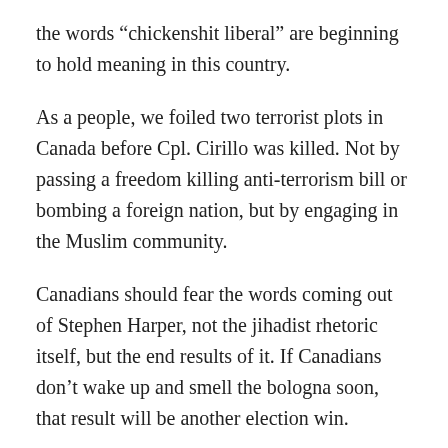the words “chickenshit liberal” are beginning to hold meaning in this country.
As a people, we foiled two terrorist plots in Canada before Cpl. Cirillo was killed. Not by passing a freedom killing anti-terrorism bill or bombing a foreign nation, but by engaging in the Muslim community.
Canadians should fear the words coming out of Stephen Harper, not the jihadist rhetoric itself, but the end results of it. If Canadians don’t wake up and smell the bologna soon, that result will be another election win.